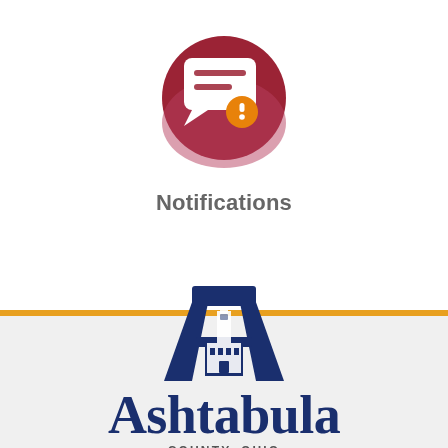[Figure (illustration): Notification icon: dark red/maroon circle with white speech bubble containing horizontal lines and an exclamation mark badge]
Notifications
[Figure (logo): Ashtabula County Ohio government logo: large letter A in navy blue with a courthouse building illustration inside, the word Ashtabula in large navy serif font below, COUNTY, OHIO in small caps with decorative lines on either side, and an orange italic tagline partially visible at bottom]